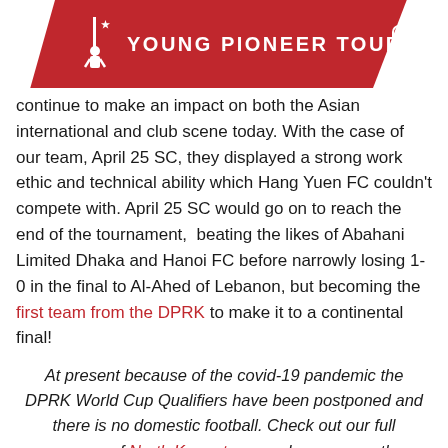YPT YOUNG PIONEER TOURS
continue to make an impact on both the Asian international and club scene today. With the case of our team, April 25 SC, they displayed a strong work ethic and technical ability which Hang Yuen FC couldn't compete with. April 25 SC would go on to reach the end of the tournament, beating the likes of Abahani Limited Dhaka and Hanoi FC before narrowly losing 1-0 in the final to Al-Ahed of Lebanon, but becoming the first team from the DPRK to make it to a continental final!
At present because of the covid-19 pandemic the DPRK World Cup Qualifiers have been postponed and there is no domestic football. Check out our full program of North Korea tours and as soon as the football schedule is back up and running we will be adding more tours so you can watch